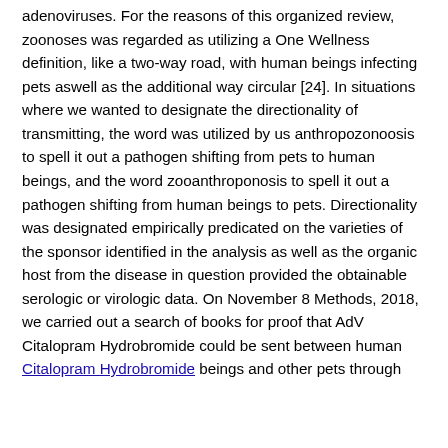adenoviruses. For the reasons of this organized review, zoonoses was regarded as utilizing a One Wellness definition, like a two-way road, with human beings infecting pets aswell as the additional way circular [24]. In situations where we wanted to designate the directionality of transmitting, the word was utilized by us anthropozonoosis to spell it out a pathogen shifting from pets to human beings, and the word zooanthroponosis to spell it out a pathogen shifting from human beings to pets. Directionality was designated empirically predicated on the varieties of the sponsor identified in the analysis as well as the organic host from the disease in question provided the obtainable serologic or virologic data. On November 8 Methods, 2018, we carried out a search of books for proof that AdV Citalopram Hydrobromide could be sent between human Citalopram Hydrobromide beings and other pets through